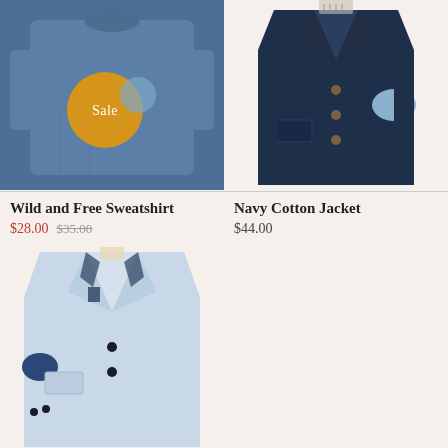[Figure (photo): Blue sweatshirt with a gold/yellow circular Sale badge overlay]
[Figure (photo): Navy cotton jacket for children with light blue elbow patch and buttons]
Wild and Free Sweatshirt
$28.00  $35.00
Navy Cotton Jacket
$44.00
[Figure (photo): Light blue children's cotton jacket with navy elbow patch and dark buttons]